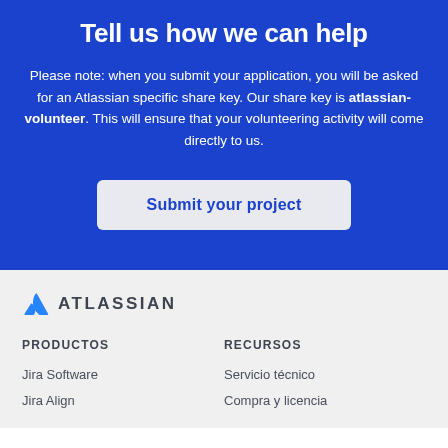Tell us how we can help
Please note: when you submit your application, you will be asked for an Atlassian specific share key. Our share key is atlassian-volunteer. This will ensure that your volunteering activity will come directly to us.
Submit your project
[Figure (logo): Atlassian logo with triangle icon and ATLASSIAN text]
PRODUCTOS
RECURSOS
Jira Software
Jira Align
Servicio técnico
Compra y licencia